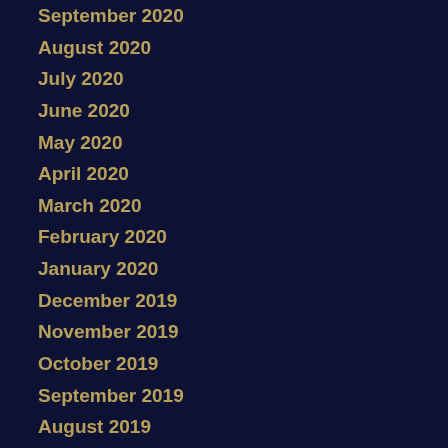September 2020
August 2020
July 2020
June 2020
May 2020
April 2020
March 2020
February 2020
January 2020
December 2019
November 2019
October 2019
September 2019
August 2019
July 2019
June 2019
May 2019
April 2019